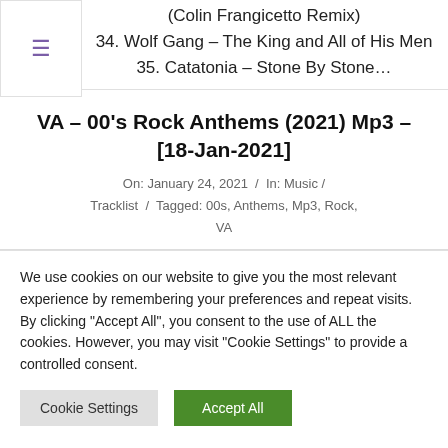34. Wolf Gang – The King and All of His Men
35. Catatonia – Stone By Stone…
VA – 00's Rock Anthems (2021) Mp3 – [18-Jan-2021]
On: January 24, 2021 / In: Music / Tracklist / Tagged: 00s, Anthems, Mp3, Rock, VA
We use cookies on our website to give you the most relevant experience by remembering your preferences and repeat visits. By clicking "Accept All", you consent to the use of ALL the cookies. However, you may visit "Cookie Settings" to provide a controlled consent.